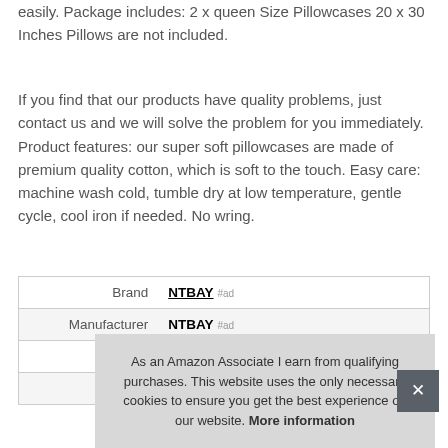easily. Package includes: 2 x queen Size Pillowcases 20 x 30 Inches Pillows are not included.
If you find that our products have quality problems, just contact us and we will solve the problem for you immediately. Product features: our super soft pillowcases are made of premium quality cotton, which is soft to the touch. Easy care: machine wash cold, tumble dry at low temperature, gentle cycle, cool iron if needed. No wring.
|  |  |
| --- | --- |
| Brand | NTBAY #ad |
| Manufacturer | NTBAY #ad |
As an Amazon Associate I earn from qualifying purchases. This website uses the only necessary cookies to ensure you get the best experience on our website. More information